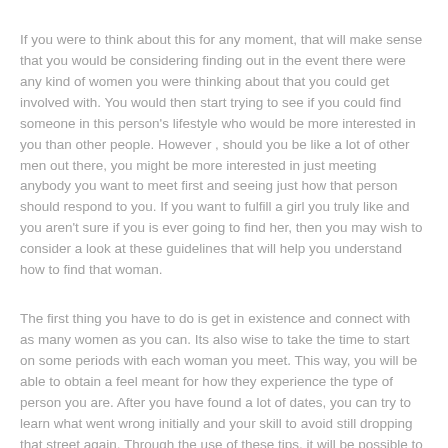If you were to think about this for any moment, that will make sense that you would be considering finding out in the event there were any kind of women you were thinking about that you could get involved with. You would then start trying to see if you could find someone in this person's lifestyle who would be more interested in you than other people. However , should you be like a lot of other men out there, you might be more interested in just meeting anybody you want to meet first and seeing just how that person should respond to you. If you want to fulfill a girl you truly like and you aren't sure if you is ever going to find her, then you may wish to consider a look at these guidelines that will help you understand how to find that woman.
The first thing you have to do is get in existence and connect with as many women as you can. Its also wise to take the time to start on some periods with each woman you meet. This way, you will be able to obtain a feel meant for how they experience the type of person you are. After you have found a lot of dates, you can try to learn what went wrong initially and your skill to avoid still dropping that street again. Through the use of these tips, it will be possible to get to know where to get the woman you want and obtain her to actually want you again.